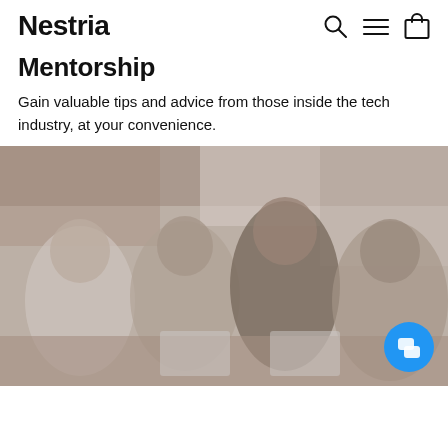Nestria
Mentorship
Gain valuable tips and advice from those inside the tech industry, at your convenience.
[Figure (photo): Group of women laughing and working together at a table with laptops in a casual office or cafe setting. Image is faded/muted in tone.]